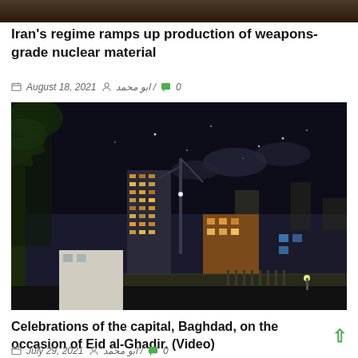[Figure (photo): Dark strip at top of page, appears to be the bottom portion of a partially visible image]
Iran’s regime ramps up production of weapons-grade nuclear material
August 18, 2021 ابومحمد/ 0
[Figure (photo): Night skyline photo showing Baghdad city buildings lit up at night against a dark sky with palm trees in the foreground]
Celebrations of the capital, Baghdad, on the occasion of Eid al-Ghadir. (Video)
July 29, 2021 ابومحمد/ 0